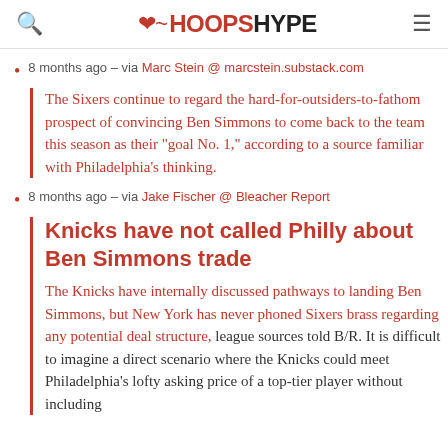HoopsHype
8 months ago – via Marc Stein @ marcstein.substack.com
The Sixers continue to regard the hard-for-outsiders-to-fathom prospect of convincing Ben Simmons to come back to the team this season as their "goal No. 1," according to a source familiar with Philadelphia's thinking.
8 months ago – via Jake Fischer @ Bleacher Report
Knicks have not called Philly about Ben Simmons trade
The Knicks have internally discussed pathways to landing Ben Simmons, but New York has never phoned Sixers brass regarding any potential deal structure, league sources told B/R. It is difficult to imagine a direct scenario where the Knicks could meet Philadelphia's lofty asking price of a top-tier player without including